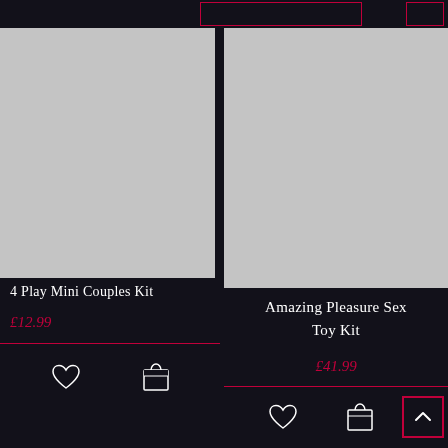[Figure (photo): Product image placeholder (grey rectangle) for 4 Play Mini Couples Kit]
4 Play Mini Couples Kit
£12.99
[Figure (photo): Product image placeholder (grey rectangle) for Amazing Pleasure Sex Toy Kit]
Amazing Pleasure Sex Toy Kit
£41.99